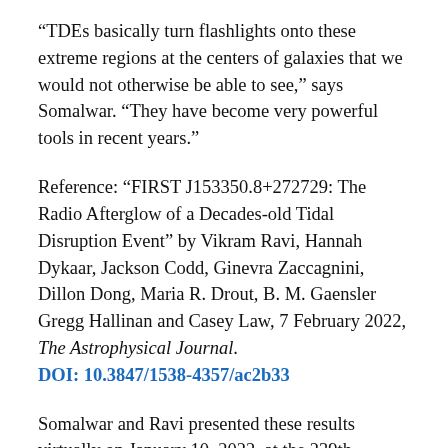“TDEs basically turn flashlights onto these extreme regions at the centers of galaxies that we would not otherwise be able to see,” says Somalwar. “They have become very powerful tools in recent years.”
Reference: “FIRST J153350.8+272729: The Radio Afterglow of a Decades-old Tidal Disruption Event” by Vikram Ravi, Hannah Dykaar, Jackson Codd, Ginevra Zaccagnini, Dillon Dong, Maria R. Drout, B. M. Gaensler Gregg Hallinan and Casey Law, 7 February 2022, The Astrophysical Journal. DOI: 10.3847/1538-4357/ac2b33
Somalwar and Ravi presented these results virtually on January 10, 2022, at the 239th meeting of the American Astronomical Society.